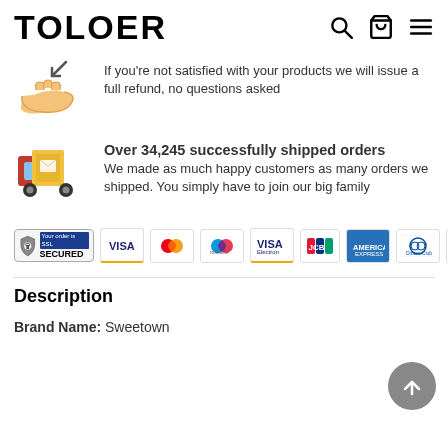TOLOER
If you're not satisfied with your products we will issue a full refund, no questions asked
Over 34,245 successfully shipped orders
We made as much happy customers as many orders we shipped. You simply have to join our big family
[Figure (infographic): Payment badges row: SSL Secured badge, VISA, Mastercard, Maestro, VISA Electron, JCB, American Express, Diners Club, Discover]
Description
Brand Name: Sweetown